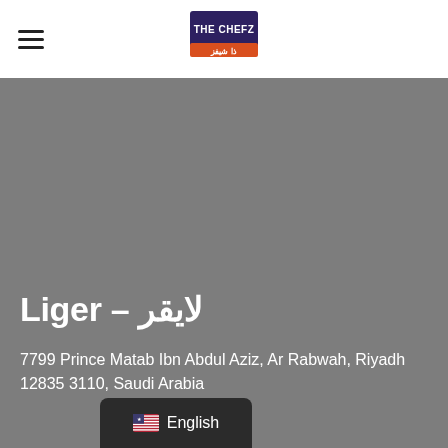[Figure (logo): The Chefz logo - blue and orange/red branding with Arabic text]
Liger – لايقر
7799 Prince Matab Ibn Abdul Aziz, Ar Rabwah, Riyadh 12835 3110, Saudi Arabia
English